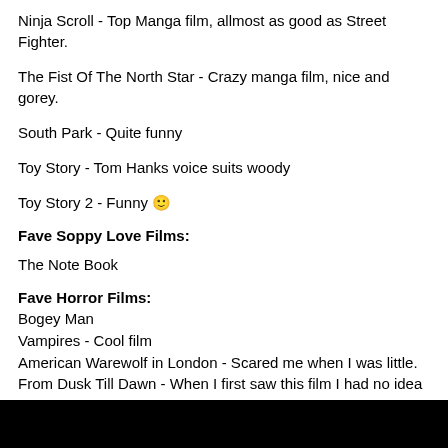Ninja Scroll - Top Manga film, allmost as good as Street Fighter.
The Fist Of The North Star - Crazy manga film, nice and gorey.
South Park - Quite funny
Toy Story - Tom Hanks voice suits woody
Toy Story 2 - Funny 🙂
Fave Soppy Love Films:
The Note Book
Fave Horror Films:
Bogey Man
Vampires - Cool film
American Warewolf in London - Scared me when I was little.
From Dusk Till Dawn - When I first saw this film I had no idea what it was about. Didn't even know who George Clooney was. It has the most bizzar twist you will ever see! I thought it was going to be a cool bank robber / gangster type film at first, but then it got stupid with the vampires. That part could have been better, but the fact it's so cheesy just makes it funny. George's character in it is just the coolest bloke in the world. If I ever had a